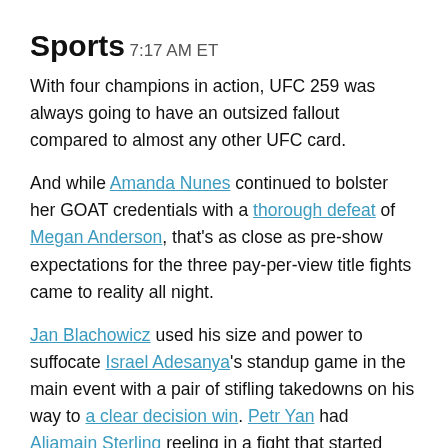Sports
7:17 AM ET
With four champions in action, UFC 259 was always going to have an outsized fallout compared to almost any other UFC card.
And while Amanda Nunes continued to bolster her GOAT credentials with a thorough defeat of Megan Anderson, that’s as close as pre-show expectations for the three pay-per-view title fights came to reality all night.
Jan Blachowicz used his size and power to suffocate Israel Adesanya’s standup game in the main event with a pair of stifling takedowns on his way to a clear decision win. Petr Yan had Aljamain Sterling reeling in a fight that started close, only for Yan to connect with an illegal knee against a